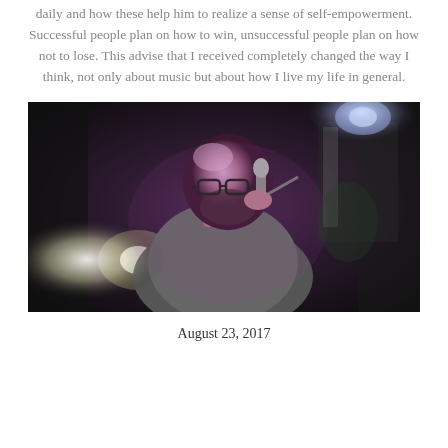daily and how these help him to realize a sense of self-empowerment. Successful people plan on how to win, unsuccessful people plan on how not to lose. This advise that I received completely changed the way I think, not only about music but about how I live my life in general.
[Figure (photo): A bald man with glasses and a beard performing on stage, holding a microphone close to his mouth, wearing a grey jacket, with stage lighting visible in the background creating purple and green hues.]
August 23, 2017